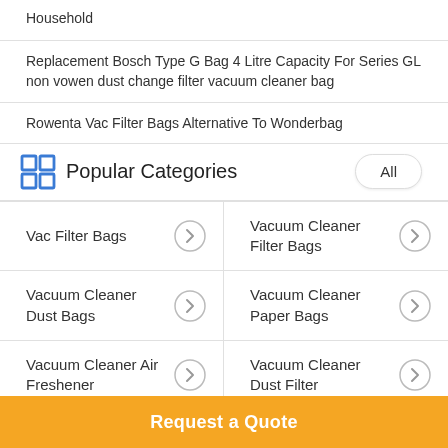Household
Replacement Bosch Type G Bag 4 Litre Capacity For Series GL non vowen dust change filter vacuum cleaner bag
Rowenta Vac Filter Bags Alternative To Wonderbag
Popular Categories
Vac Filter Bags
Vacuum Cleaner Filter Bags
Vacuum Cleaner Dust Bags
Vacuum Cleaner Paper Bags
Vacuum Cleaner Air Freshener
Vacuum Cleaner Dust Filter
Vacuum Cleaner
Vacuum Cleaner
Request a Quote